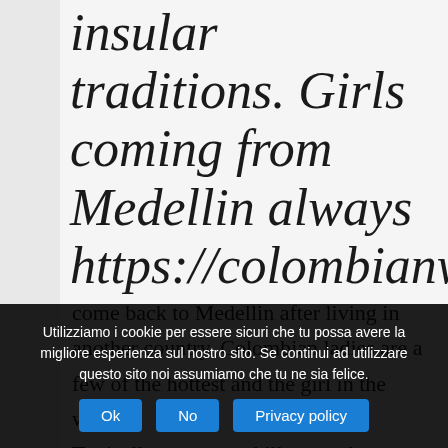insular traditions. Girls coming from Medellin always https://colombianwomen.
come back to Medellin after living in another country. Colombian ladies are a few of the hottest and the girl in the world.
Typically, men can chill out and stay
Utilizziamo i cookie per essere sicuri che tu possa avere la migliore esperienza sul nostro sito. Se continui ad utilizzare questo sito noi assumiamo che tu ne sia felice.